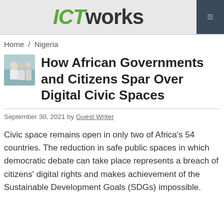ICTworks
Home / Nigeria
How African Governments and Citizens Spar Over Digital Civic Spaces
September 30, 2021 by Guest Writer
Civic space remains open in only two of Africa's 54 countries. The reduction in safe public spaces in which democratic debate can take place represents a breach of citizens' digital rights and makes achievement of the Sustainable Development Goals (SDGs) impossible.